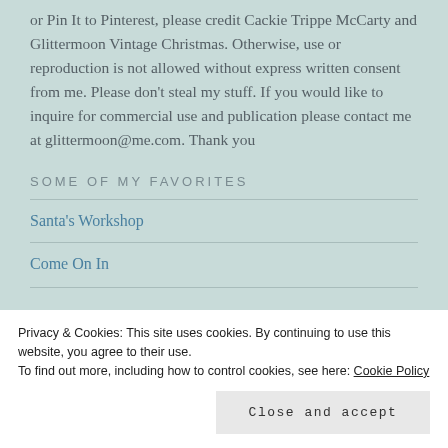or Pin It to Pinterest, please credit Cackie Trippe McCarty and Glittermoon Vintage Christmas. Otherwise, use or reproduction is not allowed without express written consent from me. Please don't steal my stuff. If you would like to inquire for commercial use and publication please contact me at glittermoon@me.com. Thank you
SOME OF MY FAVORITES
Santa's Workshop
Come On In
Privacy & Cookies: This site uses cookies. By continuing to use this website, you agree to their use.
To find out more, including how to control cookies, see here: Cookie Policy